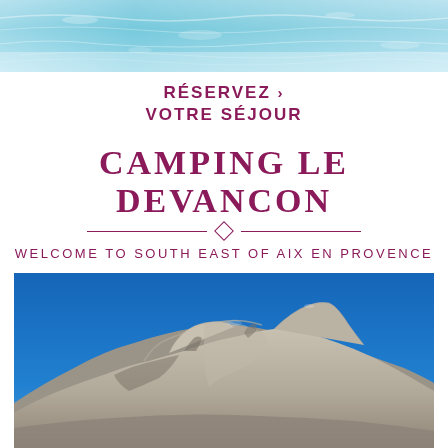[Figure (photo): Aerial view of turquoise-blue swimming pool water surface as decorative banner]
RÉSERVEZ
VOTRE SÉJOUR
CAMPING LE DEVANCON
WELCOME TO SOUTH EAST OF AIX EN PROVENCE
[Figure (photo): Rocky mountain landscape with rugged limestone peaks under a bright blue sky, Montagne Sainte-Victoire near Aix-en-Provence]